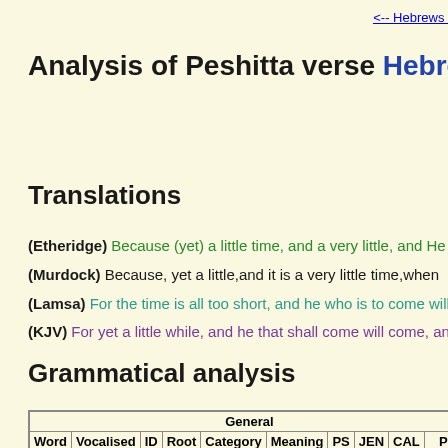<-- Hebrews
Analysis of Peshitta verse Hebrews 10:37
Translations
(Etheridge) Because (yet) a little time, and a very little, and He w...
(Murdock) Because, yet a little, and it is a very little time, when...
(Lamsa) For the time is all too short, and he who is to come will c...
(KJV) For yet a little while, and he that shall come will come, and...
Grammatical analysis
| General |  | Word | Vocalised | ID | Root | Category | Meaning | PS | JEN | CAL | Pe... |
| --- | --- | --- | --- | --- | --- | --- | --- | --- | --- | --- | --- |
|  |  |  |  |  |  |  |  |  |  |  | 62858 |